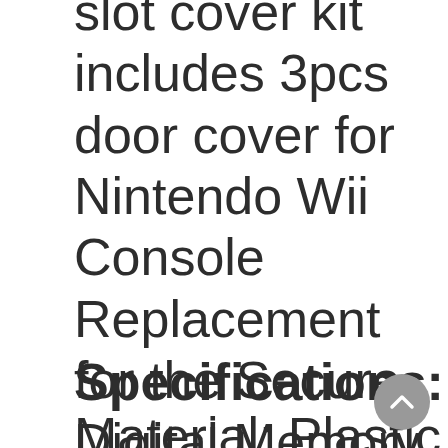slot cover kit includes 3pcs door cover for Nintendo Wii Console Replacement for the Secure Digital Memory Card door, the GC memory door and GC controller door.
Specifications:
Material: Plastic
Color: White